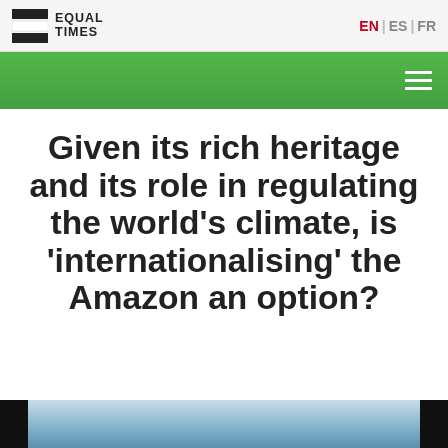EQUAL TIMES | EN | ES | FR
Given its rich heritage and its role in regulating the world’s climate, is ‘internationalising’ the Amazon an option?
[Figure (photo): Partial view of a landscape photo at the bottom of the page, showing sky and what appears to be the Amazon region, partially obscured by black corner elements]